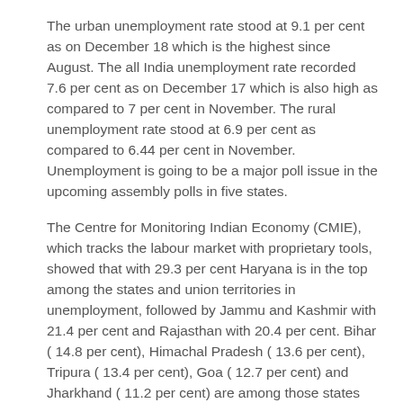The urban unemployment rate stood at 9.1 per cent as on December 18 which is the highest since August. The all India unemployment rate recorded 7.6 per cent as on December 17 which is also high as compared to 7 per cent in November. The rural unemployment rate stood at 6.9 per cent as compared to 6.44 per cent in November. Unemployment is going to be a major poll issue in the upcoming assembly polls in five states.
The Centre for Monitoring Indian Economy (CMIE), which tracks the labour market with proprietary tools, showed that with 29.3 per cent Haryana is in the top among the states and union territories in unemployment, followed by Jammu and Kashmir with 21.4 per cent and Rajasthan with 20.4 per cent. Bihar ( 14.8 per cent), Himachal Pradesh ( 13.6 per cent), Tripura ( 13.4 per cent), Goa ( 12.7 per cent) and Jharkhand ( 11.2 per cent) are among those states having double digit unemployment in December. The unemployment rate in Delhi is recorded at 9.3 per cent.